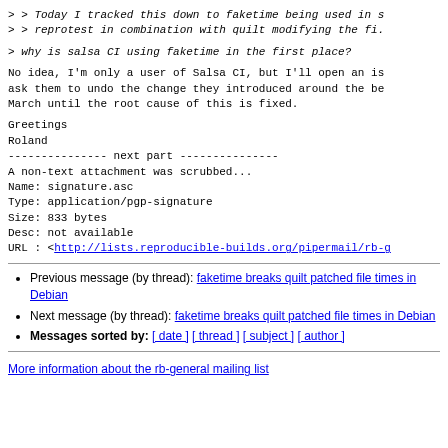> > Today I tracked this down to faketime being used in s
> > reprotest in combination with quilt modifying the fi.
> why is salsa CI using faketime in the first place?
No idea, I'm only a user of Salsa CI, but I'll open an is
ask them to undo the change they introduced around the be
March until the root cause of this is fixed.
Greetings
Roland
--------------- next part ---------------
A non-text attachment was scrubbed...
Name: signature.asc
Type: application/pgp-signature
Size: 833 bytes
Desc: not available
URL : <http://lists.reproducible-builds.org/pipermail/rb-g
Previous message (by thread): faketime breaks quilt patched file times in Debian
Next message (by thread): faketime breaks quilt patched file times in Debian
Messages sorted by: [ date ] [ thread ] [ subject ] [ author ]
More information about the rb-general mailing list